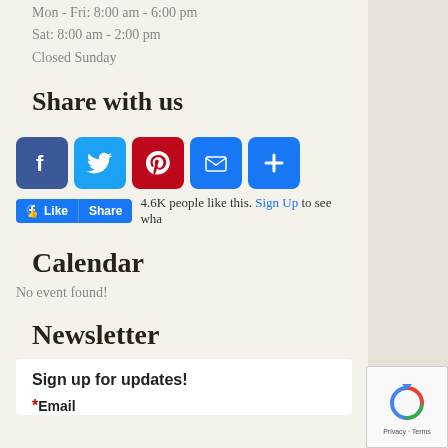Mon - Fri: 8:00 am - 6:00 pm
Sat: 8:00 am - 2:00 pm
Closed Sunday
Share with us
[Figure (infographic): Social share buttons: Facebook, Twitter, Pinterest, Email, and a plus/more button]
4.6K people like this. Sign Up to see wha
Calendar
No event found!
Newsletter
Sign up for updates!
* Email